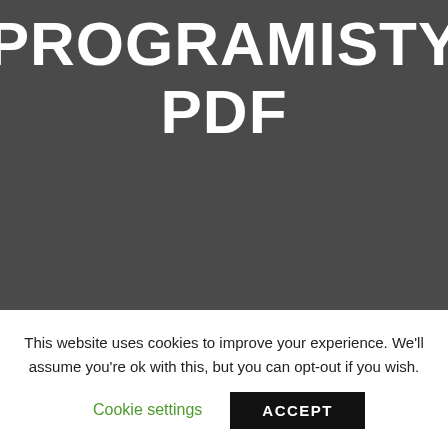PODRÓŻNIK PROGRAMISTY PDF
This website uses cookies to improve your experience. We'll assume you're ok with this, but you can opt-out if you wish.
Cookie settings   ACCEPT